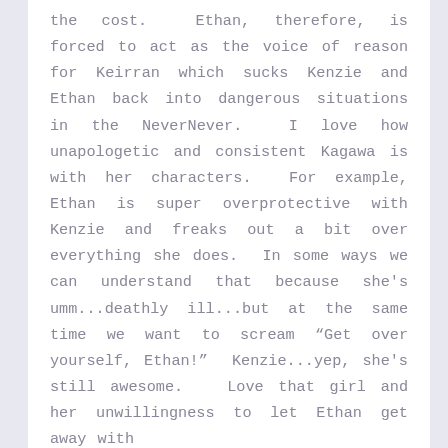the cost.  Ethan, therefore, is forced to act as the voice of reason for Keirran which sucks Kenzie and Ethan back into dangerous situations in the NeverNever.  I love how unapologetic and consistent Kagawa is with her characters.  For example, Ethan is super overprotective with Kenzie and freaks out a bit over everything she does.  In some ways we can understand that because she's umm...deathly ill...but at the same time we want to scream “Get over yourself, Ethan!”  Kenzie...yep, she's still awesome.  Love that girl and her unwillingness to let Ethan get away with